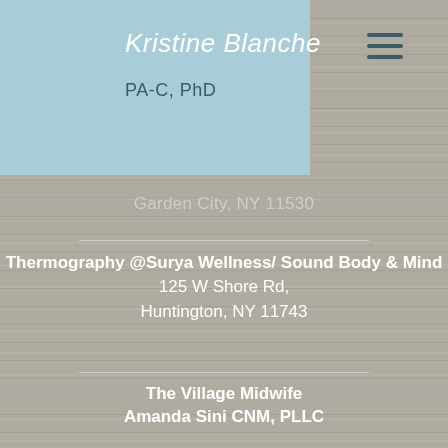Kristine Blanche
PA-C, PhD
Garden City, NY 11530
Thermography @Surya Wellness/ Sound Body & Mind
125 W Shore Rd,
Huntington, NY 11743
The Village Midwife
Amanda Sini CNM, PLLC
444 Deer Park Ave
Babylon NY 11702
BOOK NOW
Message us